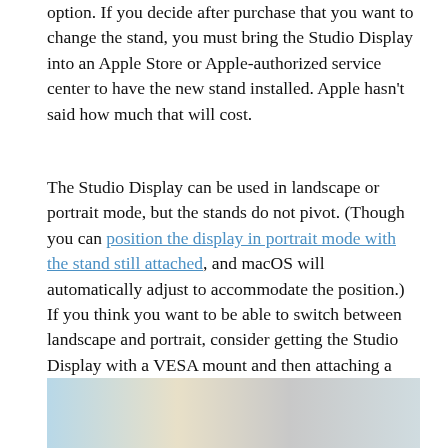option. If you decide after purchase that you want to change the stand, you must bring the Studio Display into an Apple Store or Apple-authorized service center to have the new stand installed. Apple hasn't said how much that will cost.
The Studio Display can be used in landscape or portrait mode, but the stands do not pivot. (Though you can position the display in portrait mode with the stand still attached, and macOS will automatically adjust to accommodate the position.) If you think you want to be able to switch between landscape and portrait, consider getting the Studio Display with a VESA mount and then attaching a third-party pivot stand.
[Figure (photo): Partial photo of Apple Studio Display, cropped at bottom of page, showing monitor screen area]